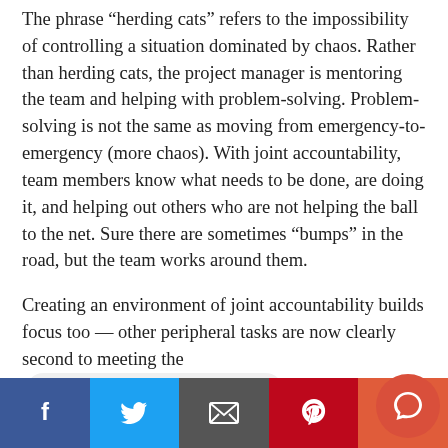The phrase “herding cats” refers to the impossibility of controlling a situation dominated by chaos. Rather than herding cats, the project manager is mentoring the team and helping with problem-solving. Problem-solving is not the same as moving from emergency-to-emergency (more chaos). With joint accountability, team members know what needs to be done, are doing it, and helping out others who are not helping the ball to the net. Sure there are sometimes “bumps” in the road, but the team works around them.
Creating an environment of joint accountability builds focus too — other peripheral tasks are now clearly second to meeting the [Welcome! How may I assist you?] sure many will scoff at the time these activities take. My assertion is that in the long run, these ste…
[Figure (other): Social sharing bar at the bottom with Facebook (blue), Twitter (light blue), Email (dark gray), Pinterest (red), and an extra orange-red button. A red circular chat button overlays the bottom-right corner.]